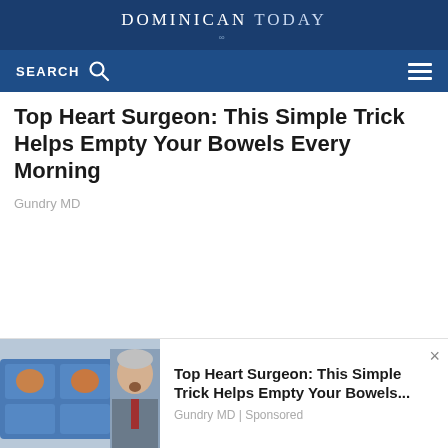DOMINICAN TODAY
Top Heart Surgeon: This Simple Trick Helps Empty Your Bowels Every Morning
Gundry MD
[Figure (photo): Advertisement image showing a man and eggs in a container with blue packaging, alongside a close-up portrait of an older man in a suit]
Top Heart Surgeon: This Simple Trick Helps Empty Your Bowels...
Gundry MD | Sponsored